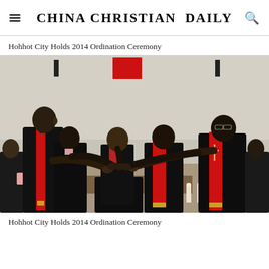CHINA CHRISTIAN DAILY
Hohhot City Holds 2014 Ordination Ceremony
[Figure (photo): A Christian ordination ceremony showing several clergy members in black robes with red stoles laying hands on a person kneeling in the center, in a church setting.]
Hohhot City Holds 2014 Ordination Ceremony